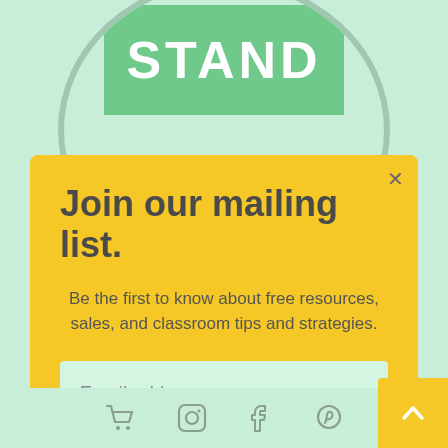[Figure (logo): Stand logo with green rounded rectangle and circular border]
Join our mailing list.
Be the first to know about free resources, sales, and classroom tips and strategies.
Email address
Subscribe
[Figure (infographic): Footer with cart, Instagram, Facebook, and Pinterest social media icons]